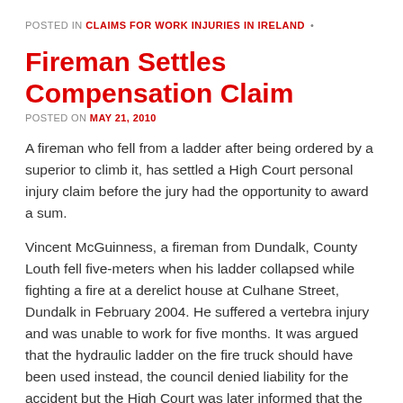POSTED IN CLAIMS FOR WORK INJURIES IN IRELAND •
Fireman Settles Compensation Claim
POSTED ON MAY 21, 2010
A fireman who fell from a ladder after being ordered by a superior to climb it, has settled a High Court personal injury claim before the jury had the opportunity to award a sum.
Vincent McGuinness, a fireman from Dundalk, County Louth fell five-meters when his ladder collapsed while fighting a fire at a derelict house at Culhane Street, Dundalk in February 2004. He suffered a vertebra injury and was unable to work for five months. It was argued that the hydraulic ladder on the fire truck should have been used instead, the council denied liability for the accident but the High Court was later informed that the claim had been settled.